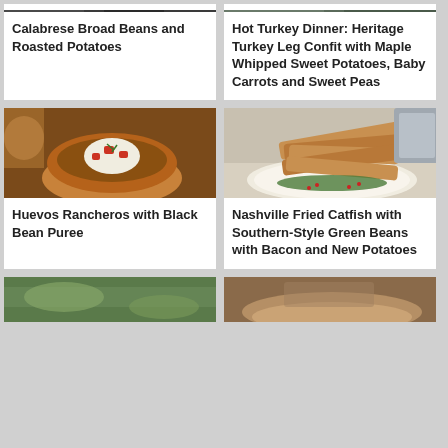[Figure (photo): Partial photo of food dish at top left (Calabrese Broad Beans and Roasted Potatoes)]
Calabrese Broad Beans and Roasted Potatoes
[Figure (photo): Partial photo of food dish at top right (Hot Turkey Dinner)]
Hot Turkey Dinner: Heritage Turkey Leg Confit with Maple Whipped Sweet Potatoes, Baby Carrots and Sweet Peas
[Figure (photo): Photo of Huevos Rancheros with Black Bean Puree - bowl with sour cream and tomatoes]
Huevos Rancheros with Black Bean Puree
[Figure (photo): Photo of Nashville Fried Catfish with Southern-Style Green Beans with Bacon and New Potatoes]
Nashville Fried Catfish with Southern-Style Green Beans with Bacon and New Potatoes
[Figure (photo): Partial photo of food dish at bottom left]
[Figure (photo): Partial photo of food dish at bottom right]